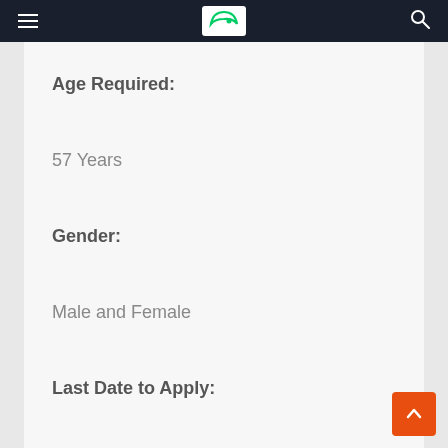Age Required:
57 Years
Gender:
Male and Female
Last Date to Apply: